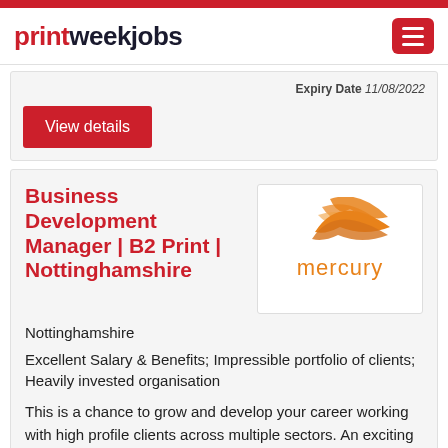printweekjobs
Expiry Date 11/08/2022
View details
Business Development Manager | B2 Print | Nottinghamshire
[Figure (logo): Mercury company logo with orange swoosh graphic and orange 'mercury' wordmark]
Nottinghamshire
Excellent Salary & Benefits; Impressible portfolio of clients; Heavily invested organisation
This is a chance to grow and develop your career working with high profile clients across multiple sectors. An exciting chance to work for a leading company who are extremely busy and with further growth planned. They are looking for